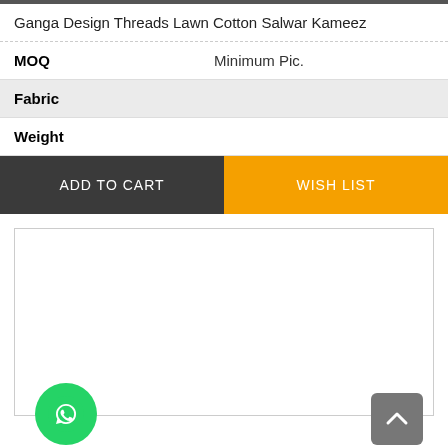Ganga Design Threads Lawn Cotton Salwar Kameez
| MOQ | Minimum Pic. |
| Fabric |  |
| Weight |  |
ADD TO CART
WISH LIST
[Figure (screenshot): Empty white content area below the buttons]
[Figure (logo): WhatsApp green circle button icon]
[Figure (other): Back to top arrow button (gray rounded square with chevron up)]